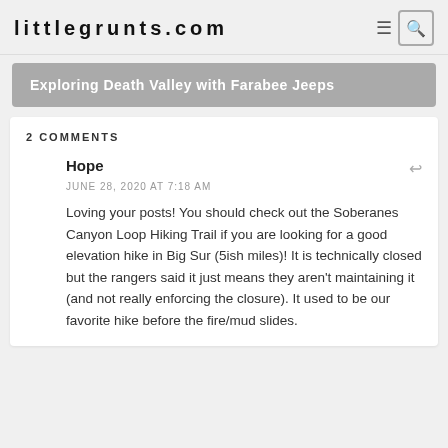littlegrunts.com
Exploring Death Valley with Farabee Jeeps
2 COMMENTS
Hope
JUNE 28, 2020 AT 7:18 AM
Loving your posts! You should check out the Soberanes Canyon Loop Hiking Trail if you are looking for a good elevation hike in Big Sur (5ish miles)! It is technically closed but the rangers said it just means they aren't maintaining it (and not really enforcing the closure). It used to be our favorite hike before the fire/mud slides.